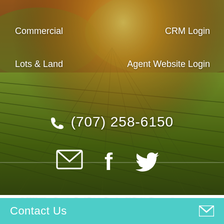Commercial
CRM Login
Lots & Land
Agent Website Login
(707) 258-6150
[Figure (infographic): Social media icons: email envelope, Facebook f, Twitter bird]
© 2022 Wine Country Real Estate Reader. All Rights Reserved. Terms of Use | Privacy Policy | Accessibility
[Figure (infographic): Realtor logo (R) and Equal Housing logo icons]
Contact Us